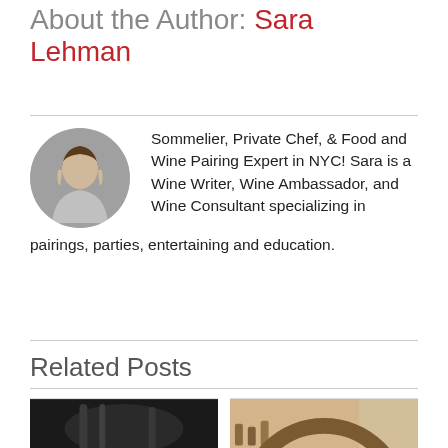About the Author: Sara Lehman
Sommelier, Private Chef, & Food and Wine Pairing Expert in NYC! Sara is a Wine Writer, Wine Ambassador, and Wine Consultant specializing in pairings, parties, entertaining and education.
Related Posts
[Figure (photo): Photo of canned 'glish' drinks with a person holding/arranging them on a dark background]
[Figure (photo): Photo of Sara Lehman standing inside a circular wooden wine cellar or restaurant archway]